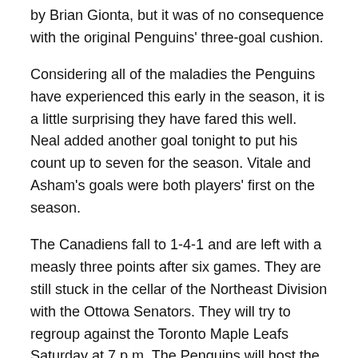by Brian Gionta, but it was of no consequence with the original Penguins' three-goal cushion.
Considering all of the maladies the Penguins have experienced this early in the season, it is a little surprising they have fared this well. Neal added another goal tonight to put his count up to seven for the season. Vitale and Asham's goals were both players' first on the season.
The Canadiens fall to 1-4-1 and are left with a measly three points after six games. They are still stuck in the cellar of the Northeast Division with the Ottowa Senators. They will try to regroup against the Toronto Maple Leafs Saturday at 7 p.m. The Penguins will host the New Jersey Devils, also on Saturday at 7 p.m.